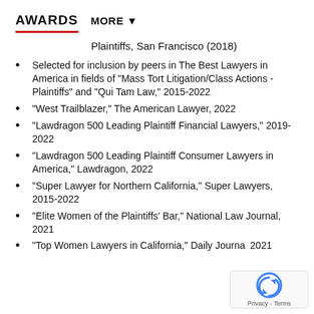AWARDS   MORE ▼
Plaintiffs, San Francisco (2018)
Selected for inclusion by peers in The Best Lawyers in America in fields of "Mass Tort Litigation/Class Actions - Plaintiffs" and "Qui Tam Law," 2015-2022
“West Trailblazer,” The American Lawyer, 2022
"Lawdragon 500 Leading Plaintiff Financial Lawyers," 2019-2022
“Lawdragon 500 Leading Plaintiff Consumer Lawyers in America,” Lawdragon, 2022
“Super Lawyer for Northern California,” Super Lawyers, 2015-2022
"Elite Women of the Plaintiffs’ Bar," National Law Journal, 2021
"Top Women Lawyers in California," Daily Journal, 2021